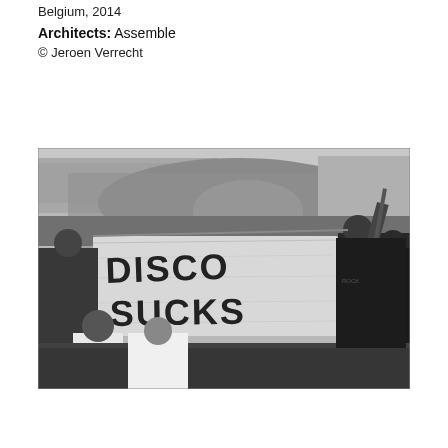Belgium, 2014
Architects: Assemble
© Jeroen Verrecht
[Figure (photo): Black and white photograph of stadium spectators holding a large hand-painted banner reading 'DISCO SUCKS' at what appears to be a baseball stadium with the field visible in the background.]